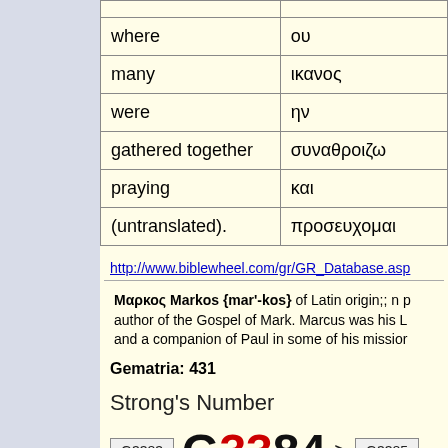| English | Greek |
| --- | --- |
| where | ου |
| many | ικανος |
| were | ην |
| gathered together | συναθροιζω |
| praying | και |
| (untranslated). | προσευχομαι |
http://www.biblewheel.com/gr/GR_Database.asp
Μαρκος Markos {mar'-kos} of Latin origin;; n p author of the Gospel of Mark. Marcus was his L and a companion of Paul in some of his missior
Gematria: 431
Strong's Number
G3383  G3384  >  G3385